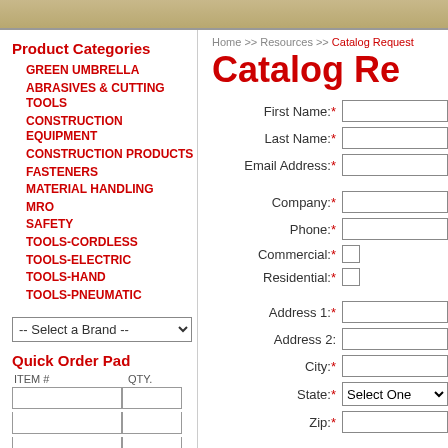Product Categories
GREEN UMBRELLA
ABRASIVES & CUTTING TOOLS
CONSTRUCTION EQUIPMENT
CONSTRUCTION PRODUCTS
FASTENERS
MATERIAL HANDLING
MRO
SAFETY
TOOLS-CORDLESS
TOOLS-ELECTRIC
TOOLS-HAND
TOOLS-PNEUMATIC
Quick Order Pad
Home >> Resources >> Catalog Request
Catalog Re
First Name:*
Last Name:*
Email Address:*
Company:*
Phone:*
Commercial:*
Residential:*
Address 1:*
Address 2:
City:*
State:*
Zip:*